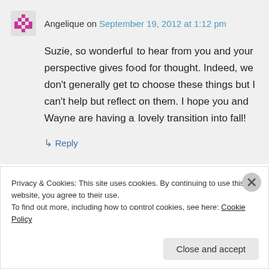Angelique on September 19, 2012 at 1:12 pm
Suzie, so wonderful to hear from you and your perspective gives food for thought. Indeed, we don't generally get to choose these things but I can't help but reflect on them. I hope you and Wayne are having a lovely transition into fall!
↳ Reply
Privacy & Cookies: This site uses cookies. By continuing to use this website, you agree to their use.
To find out more, including how to control cookies, see here: Cookie Policy